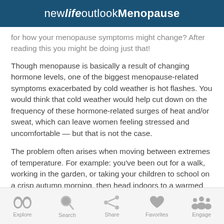newlifeoutlookMenopause
for how your menopause symptoms might change? After reading this you might be doing just that!
Though menopause is basically a result of changing hormone levels, one of the biggest menopause-related symptoms exacerbated by cold weather is hot flashes. You would think that cold weather would help cut down on the frequency of these hormone-related surges of heat and/or sweat, which can leave women feeling stressed and uncomfortable — but that is not the case.
The problem often arises when moving between extremes of temperature. For example: you've been out for a walk, working in the garden, or taking your children to school on a crisp autumn morning, then head indoors to a warmed room. Suddenly, a
Explore  Search  Share  Favorites  Engage